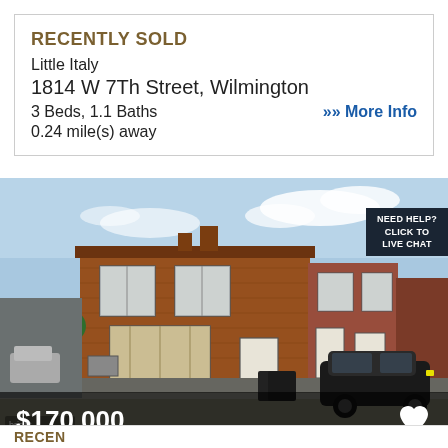RECENTLY SOLD
Little Italy
1814 W 7Th Street, Wilmington
3 Beds, 1.1 Baths    >> More Info
0.24 mile(s) away
[Figure (photo): Exterior photo of a red brick rowhouse at 1814 W 7Th Street, Wilmington. Two-story brick building on a corner lot with street view. A black SUV is parked in front. Price overlay shows $170,000.]
$170,000